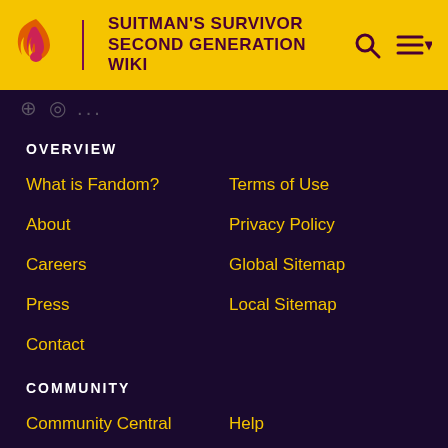SUITMAN'S SURVIVOR SECOND GENERATION WIKI
OVERVIEW
What is Fandom?
Terms of Use
About
Privacy Policy
Careers
Global Sitemap
Press
Local Sitemap
Contact
COMMUNITY
Community Central
Help
Support